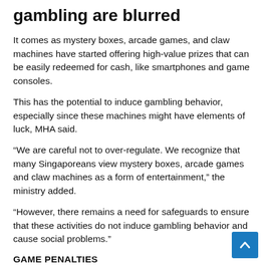gambling are blurred
It comes as mystery boxes, arcade games, and claw machines have started offering high-value prizes that can be easily redeemed for cash, like smartphones and game consoles.
This has the potential to induce gambling behavior, especially since these machines might have elements of luck, MHA said.
“We are careful not to over-regulate. We recognize that many Singaporeans view mystery boxes, arcade games and claw machines as a form of entertainment,” the ministry added.
“However, there remains a need for safeguards to ensure that these activities do not induce gambling behavior and cause social problems.”
GAME PENALTIES
The MHA proposes to increase penalties for repeat offende